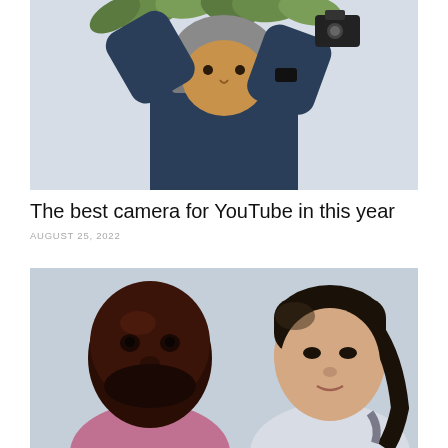[Figure (photo): A man wearing a dark denim jacket and grey beanie hat, photographing something above him with a camera, with green plant leaves visible overhead against a light background.]
The best camera for YouTube in this year
AUGUST 25, 2022
[Figure (photo): A realistic painted portrait of two people side by side against a light blue-grey background: on the left, a bald Black man with a beard wearing a pink/mauve shirt; on the right, a young Asian woman with dark hair pulled back, wearing a light-colored top.]